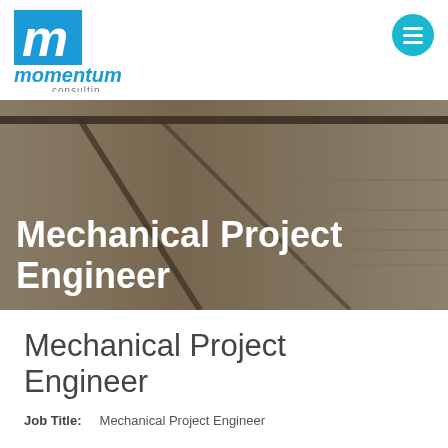[Figure (logo): Momentum Consulting logo with blue square icon containing white 'm' letter, blue italic 'momentum' text and grey 'consulting' text below]
[Figure (photo): Background photo of an industrial or office interior with grey/brown tones showing ceiling structure and shelving]
Mechanical Project Engineer
Mechanical Project Engineer
Job Title:    Mechanical Project Engineer